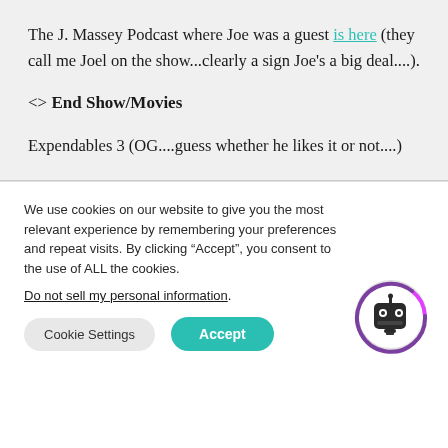The J. Massey Podcast where Joe was a guest is here (they call me Joel on the show...clearly a sign Joe's a big deal....).
<> End Show/Movies
Expendables 3 (OG....guess whether he likes it or not....)
We use cookies on our website to give you the most relevant experience by remembering your preferences and repeat visits. By clicking “Accept”, you consent to the use of ALL the cookies.
Do not sell my personal information.